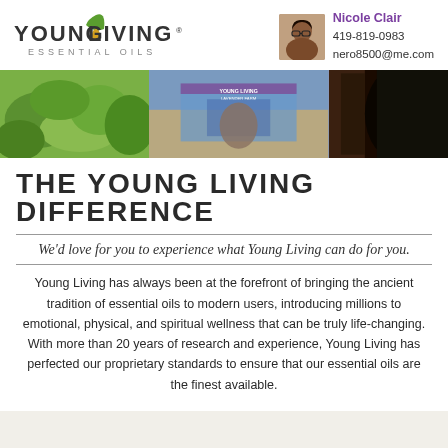[Figure (logo): Young Living Essential Oils logo with leaf and drop icon]
[Figure (photo): Portrait photo of Nicole Clair]
Nicole Clair
419-819-0983
nero8500@me.com
[Figure (photo): Three-panel photo strip: green plants on left, Young Living Lavender Farm booth in center, dark background on right]
THE YOUNG LIVING DIFFERENCE
We'd love for you to experience what Young Living can do for you.
Young Living has always been at the forefront of bringing the ancient tradition of essential oils to modern users, introducing millions to emotional, physical, and spiritual wellness that can be truly life-changing. With more than 20 years of research and experience, Young Living has perfected our proprietary standards to ensure that our essential oils are the finest available.